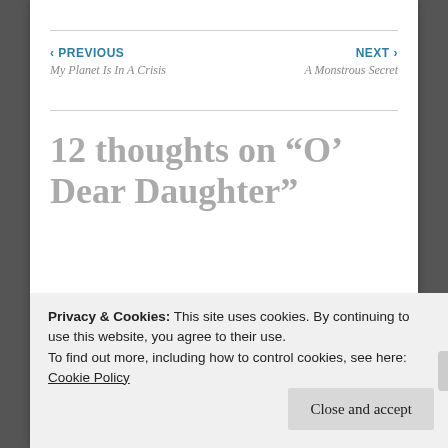‹ PREVIOUS  My Planet Is In A Crisis    NEXT ›  A Monstrous Secret
12 thoughts on “O’ Dear Daughter”
Sikiladi
DECEMBER 14, 2020 AT 5:54 PM
Privacy & Cookies: This site uses cookies. By continuing to use this website, you agree to their use.
To find out more, including how to control cookies, see here:
Cookie Policy